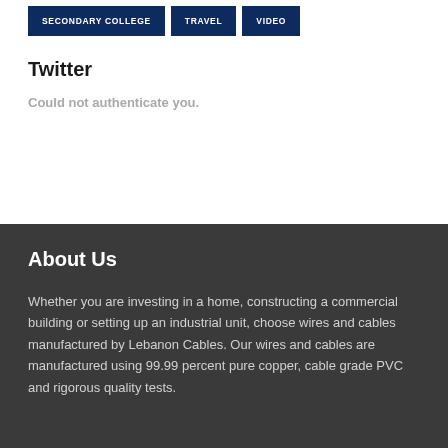SECONDARY COLLEGE
TRAVEL
VIDEO
Twitter
Could not authenticate you.
About Us
Whether you are investing in a home, constructing a commercial building or setting up an industrial unit, choose wires and cables manufactured by Lebanon Cables. Our wires and cables are manufactured using 99.99 percent pure copper, cable grade PVC and rigorous quality tests.